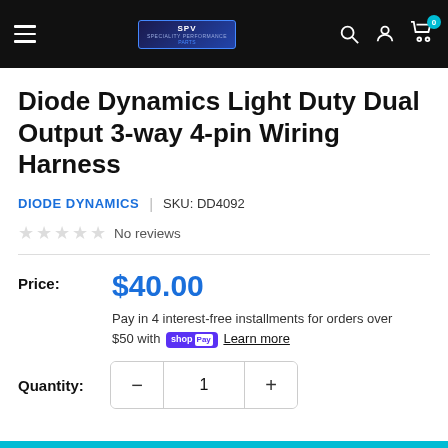SPV Speciality Performance Parts - Navigation bar with hamburger menu, logo, search, account, and cart icons
Diode Dynamics Light Duty Dual Output 3-way 4-pin Wiring Harness
DIODE DYNAMICS | SKU: DD4092
★★★★★ No reviews
Price: $40.00
Pay in 4 interest-free installments for orders over $50 with shop Pay Learn more
Quantity: 1